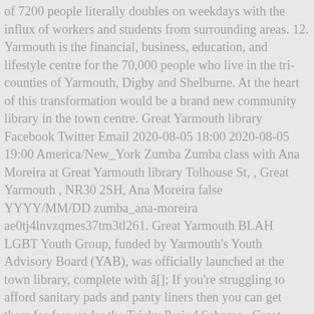of 7200 people literally doubles on weekdays with the influx of workers and students from surrounding areas. 12. Yarmouth is the financial, business, education, and lifestyle centre for the 70,000 people who live in the tri-counties of Yarmouth, Digby and Shelburne. At the heart of this transformation would be a brand new community library in the town centre. Great Yarmouth library Facebook Twitter Email 2020-08-05 18:00 2020-08-05 19:00 America/New_York Zumba Zumba class with Ana Moreira at Great Yarmouth library Tolhouse St, , Great Yarmouth , NR30 2SH, Ana Moreira false YYYY/MM/DD zumba_ana-moreira ae0tj4lnvzqmes37tm3tl261. Great Yarmouth BLAH LGBT Youth Group, funded by Yarmouth's Youth Advisory Board (YAB), was officially launched at the town library, complete with â[]; If you're struggling to afford sanitary pads and panty liners then you can get them for free under the Tricky Period Scheme.. Great Yarmouth Borough Council has teamed up with Norfolk County Council's Library Service and other local partners to offer free sanitary products to women and girls in need within the borough. Libraries. Baby, Toddler & Preschool Activity Groups in Great Yarmouth, Norfolk Activity groups for babies, toddlers and preschool children throughout the UK. I donâ[][]t live very far from my local library in Great Yarmouth in Norfolk, England. Get instant information from government websites about library-related Go